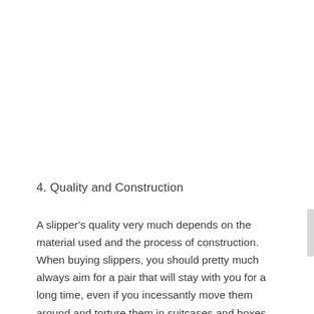4. Quality and Construction
A slipper's quality very much depends on the material used and the process of construction. When buying slippers, you should pretty much always aim for a pair that will stay with you for a long time, even if you incessantly move them around and torture them in suitcases and boxes.